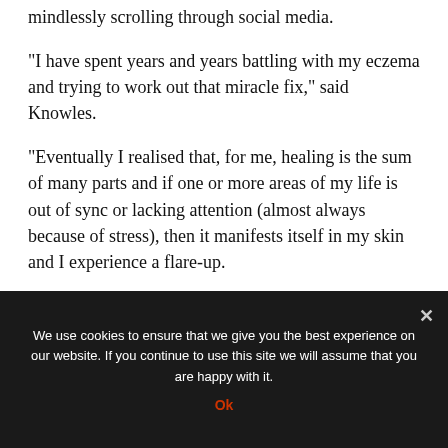mindlessly scrolling through social media.
“I have spent years and years battling with my eczema and trying to work out that miracle fix,” said Knowles.
“Eventually I realised that, for me, healing is the sum of many parts and if one or more areas of my life is out of sync or lacking attention (almost always because of stress), then it manifests itself in my skin and I experience a flare-up.
“Long-term healing can and will take time, and it is an
We use cookies to ensure that we give you the best experience on our website. If you continue to use this site we will assume that you are happy with it.
Ok